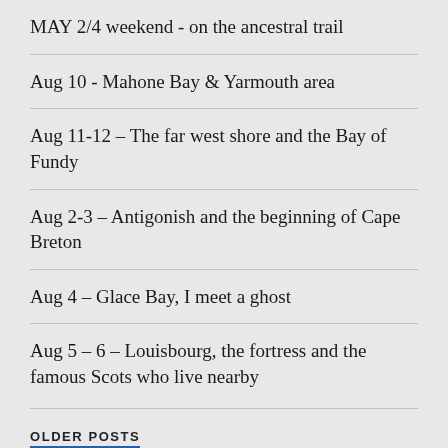MAY 2/4 weekend - on the ancestral trail
Aug 10 - Mahone Bay & Yarmouth area
Aug 11-12 – The far west shore and the Bay of Fundy
Aug 2-3 – Antigonish and the beginning of Cape Breton
Aug 4 – Glace Bay, I meet a ghost
Aug 5 – 6 – Louisbourg, the fortress and the famous Scots who live nearby
OLDER POSTS
Select Month